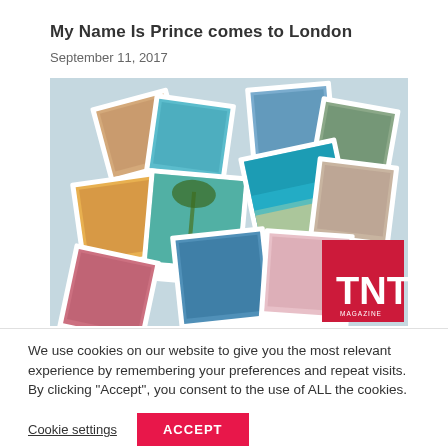My Name Is Prince comes to London
September 11, 2017
[Figure (photo): Collage of polaroid-style travel photographs scattered on a surface, with a red TNT Magazine logo in the bottom right corner]
We use cookies on our website to give you the most relevant experience by remembering your preferences and repeat visits. By clicking “Accept”, you consent to the use of ALL the cookies.
Cookie settings
ACCEPT